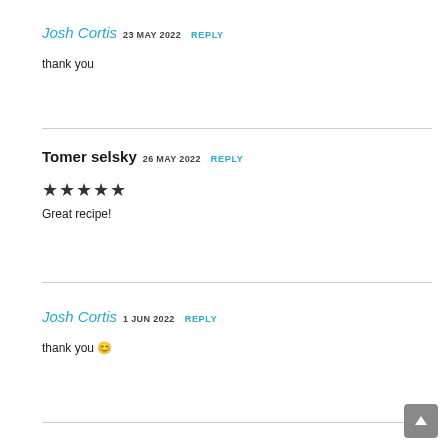Josh Cortis 23 MAY 2022 REPLY
thank you
Tomer selsky 26 MAY 2022 REPLY
★★★★★ Great recipe!
Josh Cortis 1 JUN 2022 REPLY
thank you 😊